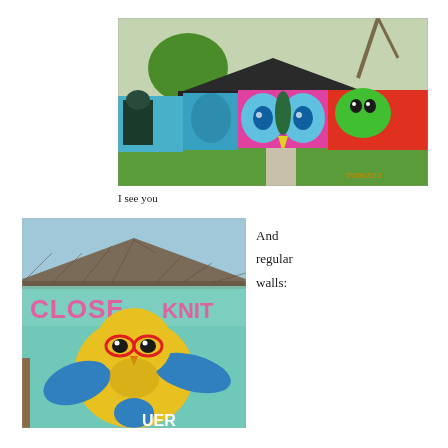[Figure (photo): Colorful street art mural painted on a fence and garage wall, featuring large blue eyes, butterfly-like shapes, and cartoon characters in bright pink, blue, green, and yellow colors. Trees and grass visible. Timestamp 05/09/2010 in orange in bottom right corner.]
I see you
[Figure (photo): Close-up photo of a street art mural on a garage wall showing a cartoon owl or bird character wearing red glasses, with text 'CLOSE KNIT' visible, painted in yellow, blue, teal, and pink on a light teal background.]
And regular walls: